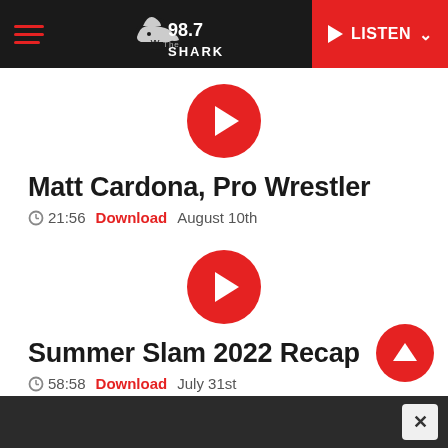98.7 The Shark — LISTEN
[Figure (screenshot): Red circular play button for first podcast entry]
Matt Cardona, Pro Wrestler
21:56   Download   August 10th
[Figure (screenshot): Red circular play button for second podcast entry]
Summer Slam 2022 Recap
58:58   Download   July 31st
[Figure (screenshot): Partially visible red circular play button for third podcast entry]
X (close button)